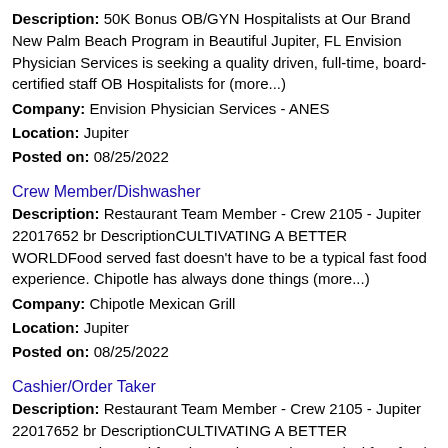Description: 50K Bonus OB/GYN Hospitalists at Our Brand New Palm Beach Program in Beautiful Jupiter, FL Envision Physician Services is seeking a quality driven, full-time, board-certified staff OB Hospitalists for (more...)
Company: Envision Physician Services - ANES
Location: Jupiter
Posted on: 08/25/2022
Crew Member/Dishwasher
Description: Restaurant Team Member - Crew 2105 - Jupiter 22017652 br DescriptionCULTIVATING A BETTER WORLDFood served fast doesn't have to be a typical fast food experience. Chipotle has always done things (more...)
Company: Chipotle Mexican Grill
Location: Jupiter
Posted on: 08/25/2022
Cashier/Order Taker
Description: Restaurant Team Member - Crew 2105 - Jupiter 22017652 br DescriptionCULTIVATING A BETTER WORLDFood served fast doesn't have to be a typical fast food experience. Chipotle has always done things (more...)
Company: Chipotle Mexican Grill
Location: Jupiter